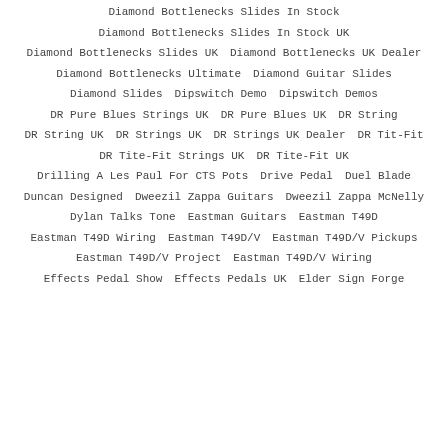Diamond Bottlenecks Slides In Stock
Diamond Bottlenecks Slides In Stock UK
Diamond Bottlenecks Slides UK
Diamond Bottlenecks UK Dealer
Diamond Bottlenecks Ultimate
Diamond Guitar Slides
Diamond Slides
Dipswitch Demo
Dipswitch Demos
DR Pure Blues Strings UK
DR Pure Blues UK
DR String
DR String UK
DR Strings UK
DR Strings UK Dealer
DR Tit-Fit
DR Tite-Fit Strings UK
DR Tite-Fit UK
Drilling A Les Paul For CTS Pots
Drive Pedal
Duel Blade
Duncan Designed
Dweezil Zappa Guitars
Dweezil Zappa McNelly
Dylan Talks Tone
Eastman Guitars
Eastman T49D
Eastman T49D Wiring
Eastman T49D/V
Eastman T49D/V Pickups
Eastman T49D/V Project
Eastman T49D/V Wiring
Effects Pedal Show
Effects Pedals UK
Elder Sign Forge